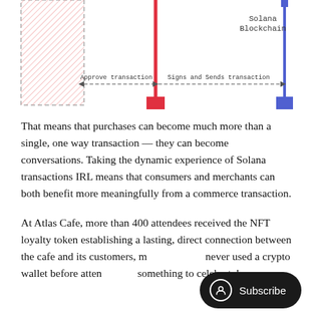[Figure (flowchart): Sequence diagram showing transaction flow: dashed box entity on left, red vertical line (middle), blue vertical line on right labeled 'Solana Blockchain'. Arrows: 'Approve transaction' points right to red line, 'Signs and Sends transaction' points right to blue line. Partial view — top of diagram cropped.]
That means that purchases can become much more than a single, one way transaction — they can become conversations. Taking the dynamic experience of Solana transactions IRL means that consumers and merchants can both benefit more meaningfully from a commerce transaction.
At Atlas Cafe, more than 400 attendees received the NFT loyalty token establishing a lasting, direct connection between the cafe and its customers, many who had never used a crypto wallet before attending — something to celebrate!